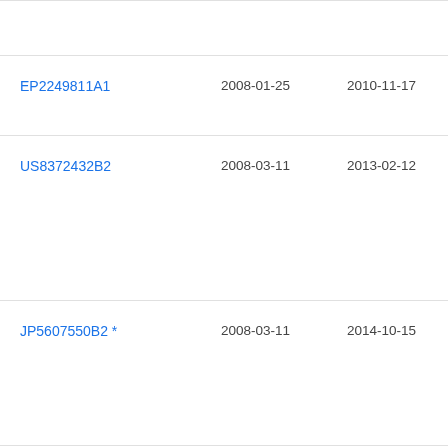| Patent | Filing Date | Publication Date | Status |
| --- | --- | --- | --- |
| EP2249811A1 | 2008-01-25 | 2010-11-17 | Grü |
| US8372432B2 | 2008-03-11 | 2013-02-12 | Dep |
| JP5607550B2 * | 2008-03-11 | 2014-10-15 | □□□□ |
| EP2273983B1 | 2008-05-09 | 2016-07-20 | Grü |